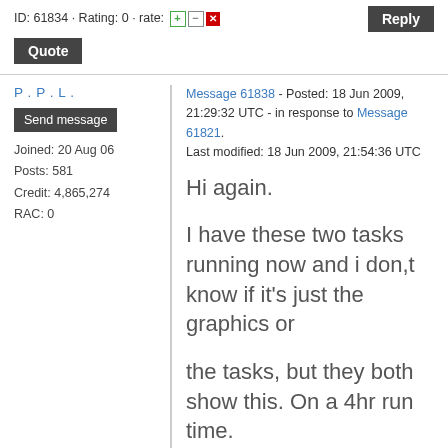ID: 61834 · Rating: 0 · rate: [+]/[-][x]  Reply  Quote
P . P . L .
Send message
Joined: 20 Aug 06
Posts: 581
Credit: 4,865,274
RAC: 0
Message 61838 - Posted: 18 Jun 2009, 21:29:32 UTC - in response to Message 61821. Last modified: 18 Jun 2009, 21:54:36 UTC
Hi again.

I have these two tasks running now and i don,t know if it's just the graphics or

the tasks, but they both show this. On a 4hr run time.

Searching:0